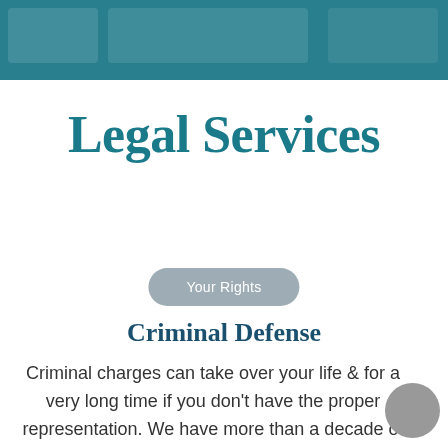[Figure (other): Teal/dark cyan header banner with faint overlapping rectangle shapes as decorative background]
Legal Services
Your Rights
Criminal Defense
Criminal charges can take over your life & for a very long time if you don't have the proper representation. We have more than a decade of experience helping people overcome the